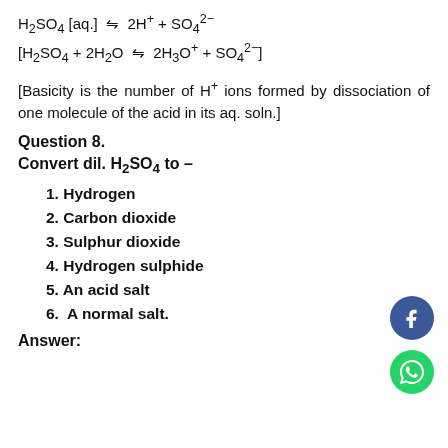[Basicity is the number of H+ ions formed by dissociation of one molecule of the acid in its aq. soln.]
Question 8.
Convert dil. H₂SO₄ to –
1. Hydrogen
2. Carbon dioxide
3. Sulphur dioxide
4. Hydrogen sulphide
5. An acid salt
6. A normal salt.
Answer: